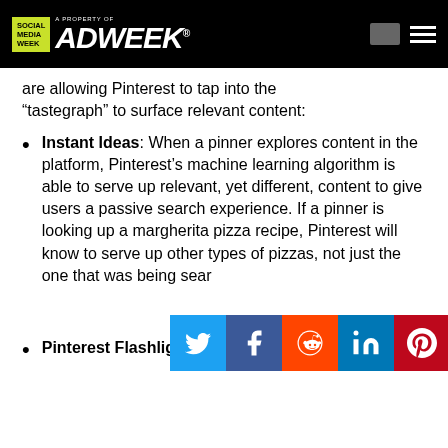Social Media Week — A Property of ADWEEK
are allowing Pinterest to tap into the “tastegraph” to surface relevant content:
Instant Ideas: When a pinner explores content in the platform, Pinterest’s machine learning algorithm is able to serve up relevant, yet different, content to give users a passive search experience. If a pinner is looking up a margherita pizza recipe, Pinterest will know to serve up other types of pizzas, not just the one that was being searched.
Pinterest Flashlight: Pinterest has